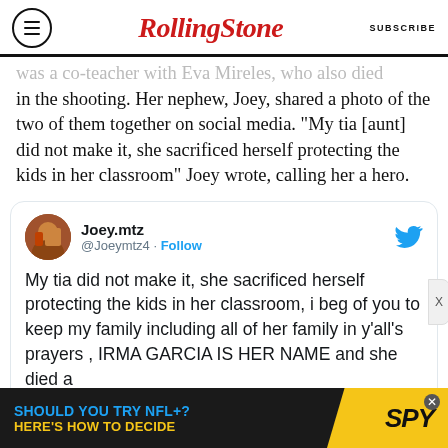Rolling Stone | SUBSCRIBE
was a co-teacher with Eva Mireles, who also died in the shooting. Her nephew, Joey, shared a photo of the two of them together on social media. "My tia [aunt] did not make it, she sacrificed herself protecting the kids in her classroom" Joey wrote, calling her a hero.
[Figure (screenshot): Embedded tweet from @Joeymtz4 (Joey.mtz) with Twitter Follow button. Tweet text: My tia did not make it, she sacrificed herself protecting the kids in her classroom, i beg of you to keep my family including all of her family in y'all's prayers , IRMA GARCIA IS HER NAME and she died a]
[Figure (infographic): Advertisement banner: SHOULD YOU TRY NFL+? HERE'S HOW TO DECIDE with SPY logo]